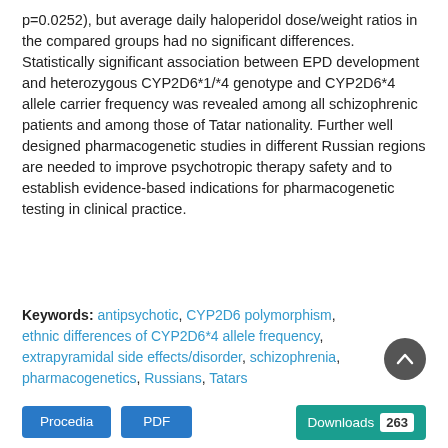p=0.0252), but average daily haloperidol dose/weight ratios in the compared groups had no significant differences. Statistically significant association between EPD development and heterozygous CYP2D6*1/*4 genotype and CYP2D6*4 allele carrier frequency was revealed among all schizophrenic patients and among those of Tatar nationality. Further well designed pharmacogenetic studies in different Russian regions are needed to improve psychotropic therapy safety and to establish evidence-based indications for pharmacogenetic testing in clinical practice.
Keywords: antipsychotic, CYP2D6 polymorphism, ethnic differences of CYP2D6*4 allele frequency, extrapyramidal side effects/disorder, schizophrenia, pharmacogenetics, Russians, Tatars
[Figure (other): Scroll-to-top button (dark circular button with upward arrow)]
[Figure (other): Action buttons: Procedia (blue), PDF (blue), Downloads 263 (teal)]